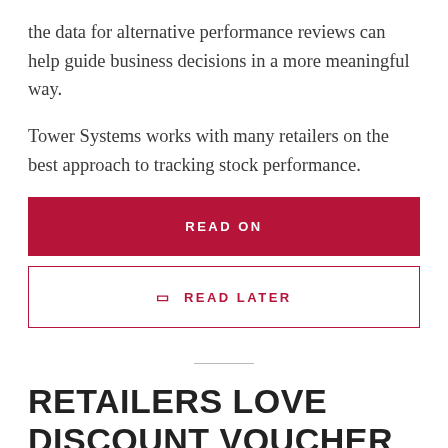the data for alternative performance reviews can help guide business decisions in a more meaningful way.
Tower Systems works with many retailers on the best approach to tracking stock performance.
READ ON
🔖 READ LATER
RETAILERS LOVE DISCOUNT VOUCHER OPTIONS IN POS